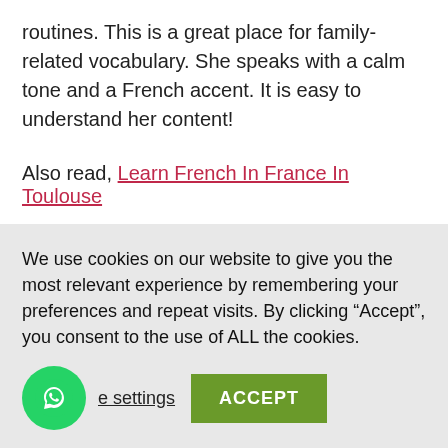routines. This is a great place for family-related vocabulary. She speaks with a calm tone and a French accent. It is easy to understand her content!
Also read, Learn French In France In Toulouse
Leave a Reply
Your email address will not be published. Required fields are
We use cookies on our website to give you the most relevant experience by remembering your preferences and repeat visits. By clicking “Accept”, you consent to the use of ALL the cookies.